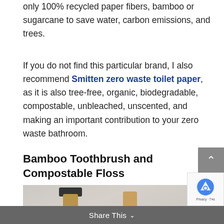only 100% recycled paper fibers, bamboo or sugarcane to save water, carbon emissions, and trees.
If you do not find this particular brand, I also recommend Smitten zero waste toilet paper, as it is also tree-free, organic, biodegradable, compostable, unbleached, unscented, and making an important contribution to your zero waste bathroom.
Bamboo Toothbrush and Compostable Floss
[Figure (photo): Photo of bamboo toothbrushes, partially visible at bottom of page, with light grey/beige background]
Share This